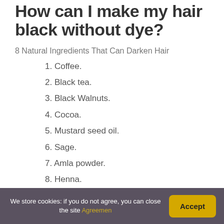How can I make my hair black without dye?
8 Natural Ingredients That Can Darken Hair
1. Coffee.
2. Black tea.
3. Black Walnuts.
4. Cocoa.
5. Mustard seed oil.
6. Sage.
7. Amla powder.
8. Henna.
How can I color my hair
We store cookies: if you do not agree, you can close the site Agreemen